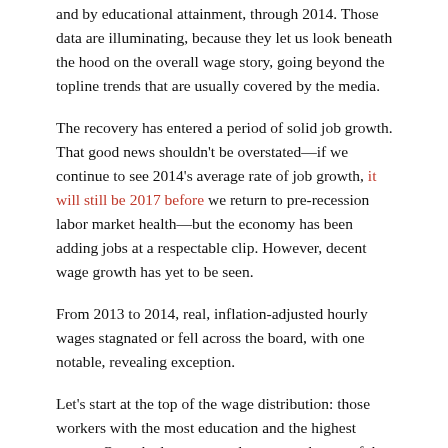and by educational attainment, through 2014. Those data are illuminating, because they let us look beneath the hood on the overall wage story, going beyond the topline trends that are usually covered by the media.
The recovery has entered a period of solid job growth. That good news shouldn't be overstated—if we continue to see 2014's average rate of job growth, it will still be 2017 before we return to pre-recession labor market health—but the economy has been adding jobs at a respectable clip. However, decent wage growth has yet to be seen.
From 2013 to 2014, real, inflation-adjusted hourly wages stagnated or fell across the board, with one notable, revealing exception.
Let's start at the top of the wage distribution: those workers with the most education and the highest wages. Over the last year, real wages at the top of the wage distribution fell—by 0.7 percent at the 90th